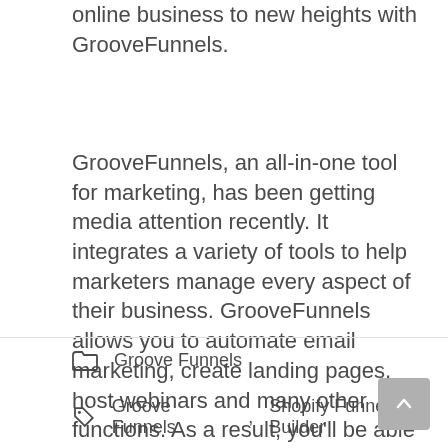online business to new heights with GrooveFunnels.
GrooveFunnels, an all-in-one tool for marketing, has been getting media attention recently. It integrates a variety of tools to help marketers manage every aspect of their business. GrooveFunnels allows you to automate email marketing, create landing pages, host webinars and many other functions. As a result, you’ll be able to streamline your marketing efforts, increase online visibility, and boost organic web traffic.
Groove Funnels
Groove Funnels, Shopify Funnel Builder